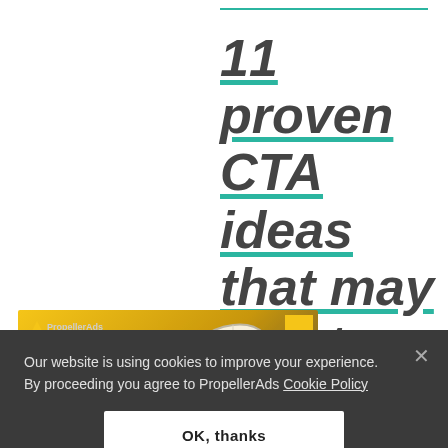11 proven CTA ideas that may bolster the
[Figure (screenshot): PropellerAds thumbnail image showing '11 Proven Call-to-Action Buttons' with a hand cursor icon on gold/dark background]
Our website is using cookies to improve your experience. By proceeding you agree to PropellerAds Cookie Policy
OK, thanks